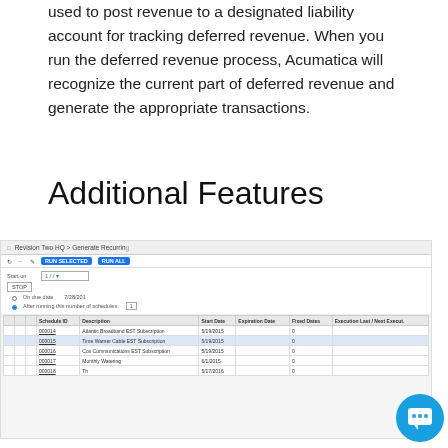used to post revenue to a designated liability account for tracking deferred revenue. When you run the deferred revenue process, Acumatica will recognize the current part of deferred revenue and generate the appropriate transactions.
Additional Features
[Figure (screenshot): Screenshot of Acumatica Generate Recurring screen with a table listing subscription schedule entries including Atlantic Broadband EST Subscription, Time Warner Cable EST Subscription, Cox Communications EST Subscription, Monthly Watering, and Th entries with Start Dates around 5/19/2015-5/17/2016. A chat overlay widget is displayed on top showing a logo and 'Have any questions? I'm happy to help.' message with a close button and chat bubble.]